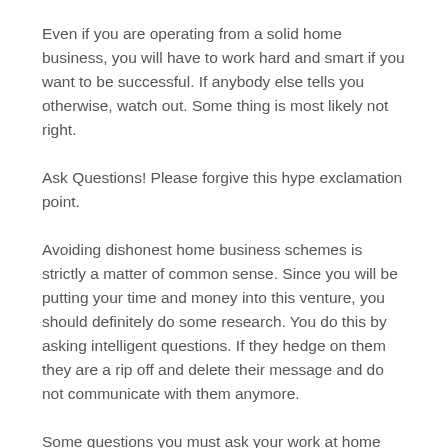Even if you are operating from a solid home business, you will have to work hard and smart if you want to be successful. If anybody else tells you otherwise, watch out. Some thing is most likely not right.
Ask Questions! Please forgive this hype exclamation point.
Avoiding dishonest home business schemes is strictly a matter of common sense. Since you will be putting your time and money into this venture, you should definitely do some research. You do this by asking intelligent questions. If they hedge on them they are a rip off and delete their message and do not communicate with them anymore.
Some questions you must ask your work at home